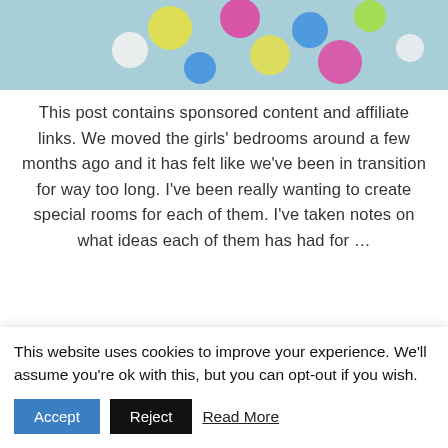[Figure (photo): Top portion of a photo showing a light blue background with colorful polka dots (yellow, pink, white, blue, yellow-green) visible at the top of the page]
This post contains sponsored content and affiliate links. We moved the girls' bedrooms around a few months ago and it has felt like we've been in transition for way too long. I've been really wanting to create special rooms for each of them. I've taken notes on what ideas each of them has had for …
READ MORE
December 11, 2014
This website uses cookies to improve your experience. We'll assume you're ok with this, but you can opt-out if you wish.
Accept
Reject
Read More